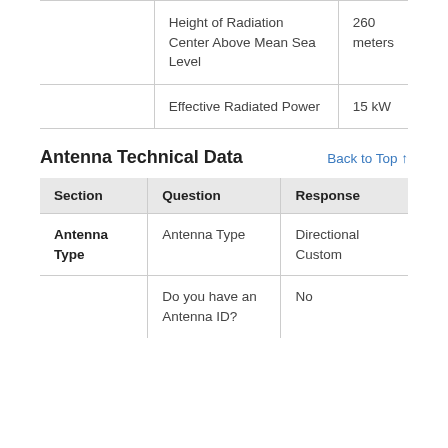|  | Question | Response |
| --- | --- | --- |
|  | Height of Radiation Center Above Mean Sea Level | 260 meters |
|  | Effective Radiated Power | 15 kW |
Antenna Technical Data
Back to Top ↑
| Section | Question | Response |
| --- | --- | --- |
| Antenna Type | Antenna Type | Directional Custom |
|  | Do you have an Antenna ID? | No |